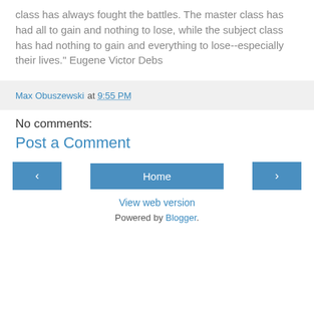class has always fought the battles. The master class has had all to gain and nothing to lose, while the subject class has had nothing to gain and everything to lose--especially their lives." Eugene Victor Debs
Max Obuszewski at 9:55 PM
No comments:
Post a Comment
‹
Home
›
View web version
Powered by Blogger.